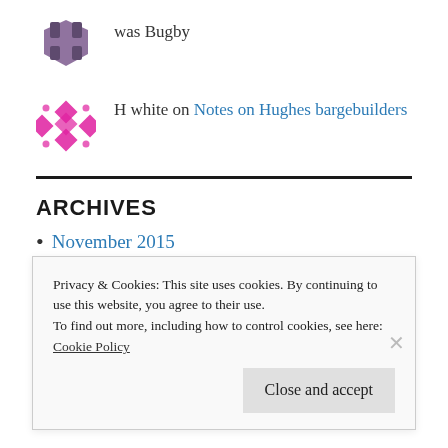was Bugby
H white on Notes on Hughes bargebuilders
ARCHIVES
November 2015
August 2015
Privacy & Cookies: This site uses cookies. By continuing to use this website, you agree to their use.
To find out more, including how to control cookies, see here:
Cookie Policy
Close and accept